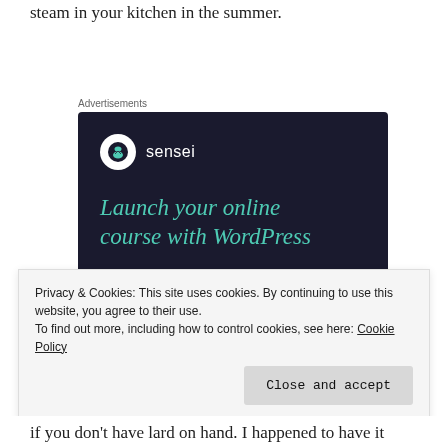steam in your kitchen in the summer.
Advertisements
[Figure (other): Sensei advertisement: dark navy background with Sensei logo (tree in white circle), headline 'Launch your online course with WordPress' in teal italic text, and a 'Learn More' teal rounded button.]
Privacy & Cookies: This site uses cookies. By continuing to use this website, you agree to their use.
To find out more, including how to control cookies, see here: Cookie Policy
Close and accept
if you don't have lard on hand. I happened to have it